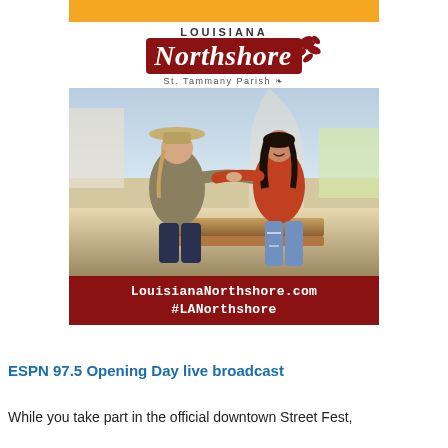[Figure (photo): Louisiana Northshore advertisement featuring logo with orange bar at top, 'LOUISIANA Northshore St. Tammany Parish' branding with red floral decoration, a photograph of two women dancing/holding hands outdoors at what appears to be a festival or market setting. One woman wears a wide-brim hat and olive cardigan, the other wears a red sweater and ripped jeans. A dark red banner at the bottom reads 'LouisianaNorthshore.com #LANorthshore'.]
ESPN 97.5 Opening Day live broadcast
While you take part in the official downtown Street Fest,